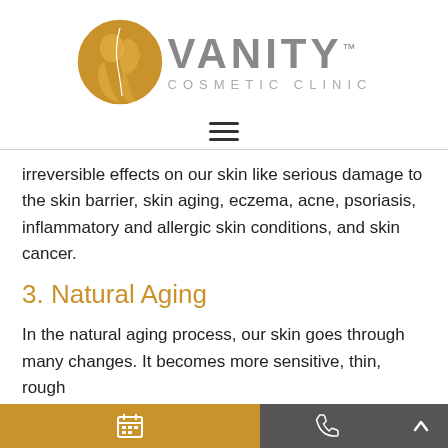[Figure (logo): Vanity Cosmetic Clinic logo with gold circular emblem showing two face silhouettes and grey text reading VANITY with TM mark and COSMETIC CLINIC below]
[Figure (other): Hamburger menu icon (three horizontal lines)]
irreversible effects on our skin like serious damage to the skin barrier, skin aging, eczema, acne, psoriasis, inflammatory and allergic skin conditions, and skin cancer.
3. Natural Aging
In the natural aging process, our skin goes through many changes. It becomes more sensitive, thin, rough